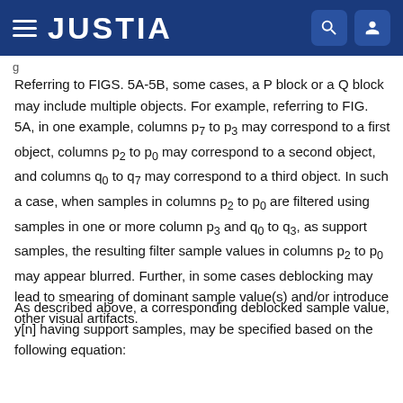JUSTIA
Referring to FIGS. 5A-5B, some cases, a P block or a Q block may include multiple objects. For example, referring to FIG. 5A, in one example, columns p7 to p3 may correspond to a first object, columns p2 to p0 may correspond to a second object, and columns q0 to q7 may correspond to a third object. In such a case, when samples in columns p2 to p0 are filtered using samples in one or more column p3 and q0 to q3, as support samples, the resulting filter sample values in columns p2 to p0 may appear blurred. Further, in some cases deblocking may lead to smearing of dominant sample value(s) and/or introduce other visual artifacts.
As described above, a corresponding deblocked sample value, y[n] having support samples, may be specified based on the following equation: